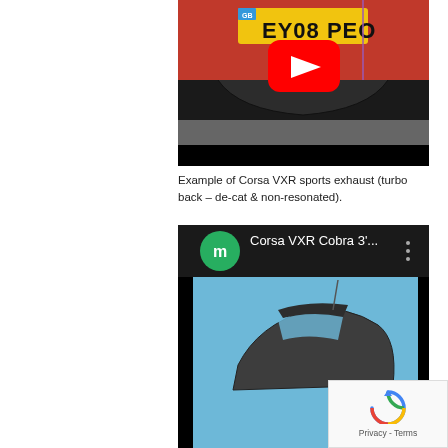[Figure (screenshot): YouTube video thumbnail showing a red Vauxhall Corsa VXR sports exhaust (rear view), with a UK number plate 'EY08 PEO' visible. A YouTube play button is overlaid in the center. Lower half of the thumbnail is black.]
Example of Corsa VXR sports exhaust (turbo back – de-cat & non-resonated).
[Figure (screenshot): YouTube video thumbnail showing 'Corsa VXR Cobra 3'...' with a green circle avatar with letter 'm', title text, and a car (Vauxhall Corsa) photographed against a blue sky.]